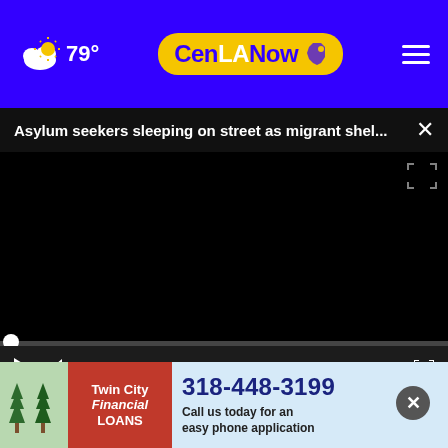79° CenLANow
Asylum seekers sleeping on street as migrant shel...
[Figure (screenshot): Embedded video player showing a black screen with playback controls — play button, mute button, timestamp 00:00, and fullscreen button. A white progress dot is visible at the start of the scrub bar.]
Cheney slams GOP leadership for enabling white nati...
[Figure (other): Twin City Financial Loans advertisement banner with trees graphic, red box with company name, phone number 318-448-3199, and text 'Call us today for an easy phone application']